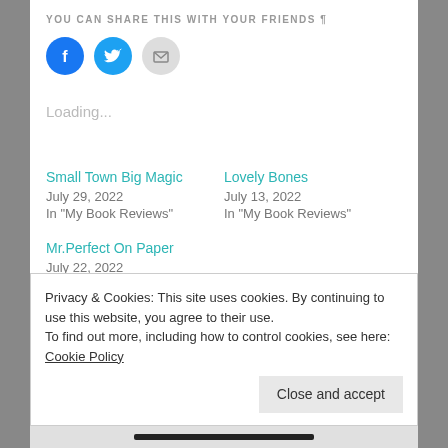YOU CAN SHARE THIS WITH YOUR FRIENDS ¶
[Figure (illustration): Three social sharing icon circles: Facebook (blue), Twitter (cyan/blue), and Email (gray with envelope icon)]
Loading...
Small Town Big Magic
July 29, 2022
In "My Book Reviews"
Lovely Bones
July 13, 2022
In "My Book Reviews"
Mr.Perfect On Paper
July 22, 2022
In "My Book Reviews"
Privacy & Cookies: This site uses cookies. By continuing to use this website, you agree to their use.
To find out more, including how to control cookies, see here: Cookie Policy
Close and accept